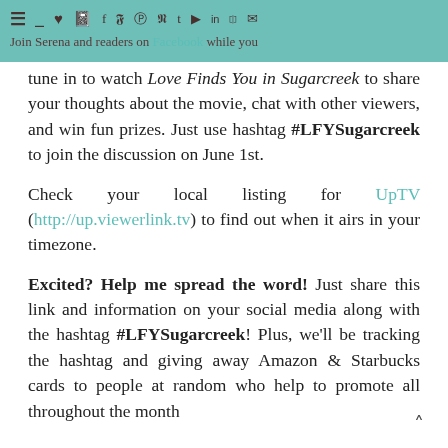Join Serena and readers on Facebook while you
tune in to watch Love Finds You in Sugarcreek to share your thoughts about the movie, chat with other viewers, and win fun prizes. Just use hashtag #LFYSugarcreek to join the discussion on June 1st.
Check your local listing for UpTV (http://up.viewerlink.tv) to find out when it airs in your timezone.
Excited? Help me spread the word! Just share this link and information on your social media along with the hashtag #LFYSugarcreek! Plus, we'll be tracking the hashtag and giving away Amazon & Starbucks cards to people at random who help to promote all throughout the month